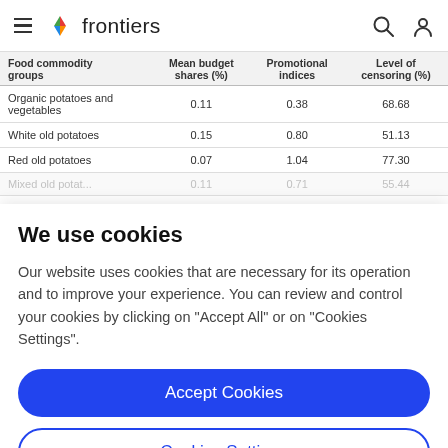frontiers
| Food commodity groups | Mean budget shares (%) | Promotional indices | Level of censoring (%) |
| --- | --- | --- | --- |
| Organic potatoes and vegetables | 0.11 | 0.38 | 68.68 |
| White old potatoes | 0.15 | 0.80 | 51.13 |
| Red old potatoes | 0.07 | 1.04 | 77.30 |
| Mixed old potatoes | 0.11 | 0.71 | 55.44 |
We use cookies
Our website uses cookies that are necessary for its operation and to improve your experience. You can review and control your cookies by clicking on "Accept All" or on "Cookies Settings".